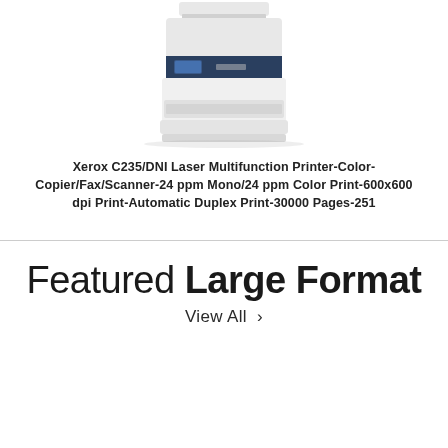[Figure (photo): Xerox C235/DNI laser multifunction printer - white and dark navy blue color, compact desktop MFP with document feeder on top]
Xerox C235/DNI Laser Multifunction Printer-Color-Copier/Fax/Scanner-24ppm Mono/24ppm Color Print-600x600 dpi Print-Automatic Duplex Print-30000 Pages-251
Featured Large Format
View All >